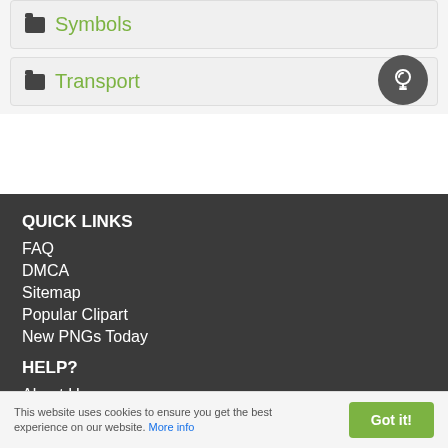Symbols
Transport
QUICK LINKS
FAQ
DMCA
Sitemap
Popular Clipart
New PNGs Today
HELP?
About Us
Contact Us
This website uses cookies to ensure you get the best experience on our website. More info